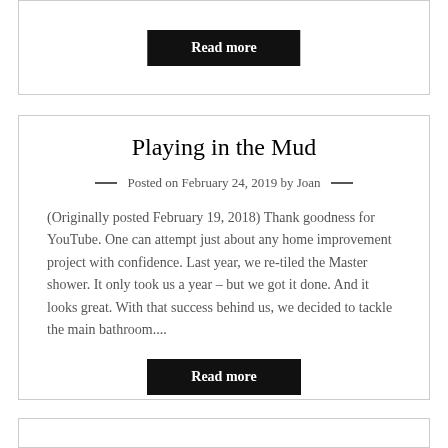Read more
Playing in the Mud
Posted on February 24, 2019 by Joan
(Originally posted February 19, 2018) Thank goodness for YouTube. One can attempt just about any home improvement project with confidence. Last year, we re-tiled the Master shower. It only took us a year – but we got it done. And it looks great. With that success behind us, we decided to tackle the main bathroom....
Read more